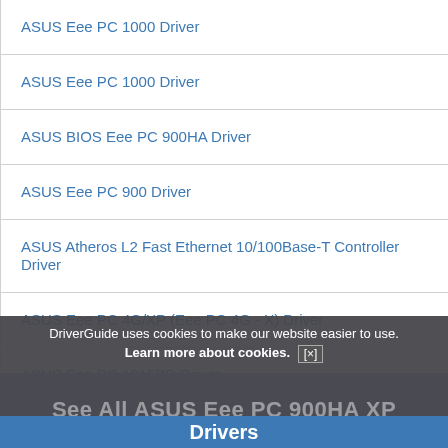ASUS Eee PC 1000 Driver
ASUS Eee PC 1000 Driver
ASUS BIOS Eee PC 900HA Driver
ASUS Eee PC 900 Driver
ASUS Atheros L2 Fast Ethernet 10/100Base-T Controller Driver
ASUS Eee PC 4G/XP (Eee PC 4G - X) Driver
ASUS Eee PC 1015PD Driver
DriverGuide uses cookies to make our website easier to use. Learn more about cookies. [x]
See All ASUS Eee PC 900HA XP Drivers